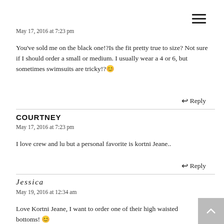[Figure (other): Hamburger menu icon (three horizontal lines) in upper right corner]
May 17, 2016 at 7:23 pm
You've sold me on the black one!?Is the fit pretty true to size? Not sure if I should order a small or medium. I usually wear a 4 or 6, but sometimes swimsuits are tricky!? 😊
↩ Reply
COURTNEY
May 17, 2016 at 7:23 pm
I love crew and lu but a personal favorite is kortni Jeane..
↩ Reply
Jessica
May 19, 2016 at 12:34 am
Love Kortni Jeane, I want to order one of their high waisted bottoms! 😊